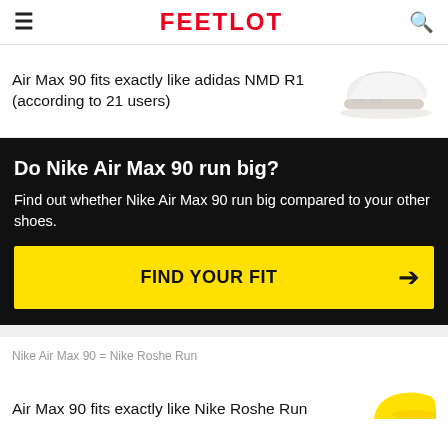FEETLOT
Air Max 90 fits exactly like adidas NMD R1 (according to 21 users)
[Figure (photo): White adidas NMD R1 sneaker on white background]
Do Nike Air Max 90 run big?
Find out whether Nike Air Max 90 run big compared to your other shoes.
FIND YOUR FIT
Nike Air Max 90 = Nike Roshe Run
Air Max 90 fits exactly like Nike Roshe Run
[Figure (photo): Yellow sneaker partially visible at bottom right]